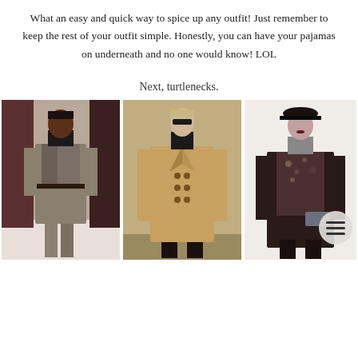What an easy and quick way to spice up any outfit! Just remember to keep the rest of your outfit simple. Honestly, you can have your pajamas on underneath and no one would know! LOL
Next, turtlenecks.
[Figure (photo): Three fashion photos of models wearing turtlenecks: left model in grey tweed suit on runway, center model in camel double-breasted coat, right model in dark floral top with blazer and cap. A circular menu button overlays the bottom-right of the third image.]